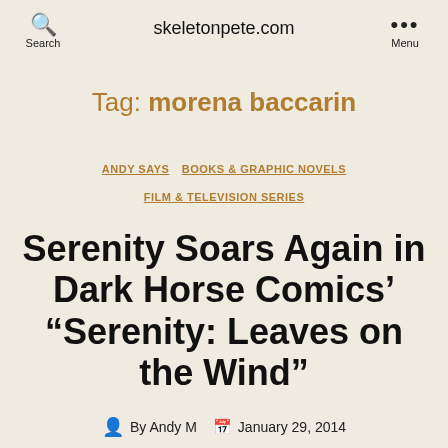skeletonpete.com | Search | Menu
Tag: morena baccarin
ANDY SAYS   BOOKS & GRAPHIC NOVELS   FILM & TELEVISION SERIES
Serenity Soars Again in Dark Horse Comics' “Serenity: Leaves on the Wind”
By Andy M   January 29, 2014